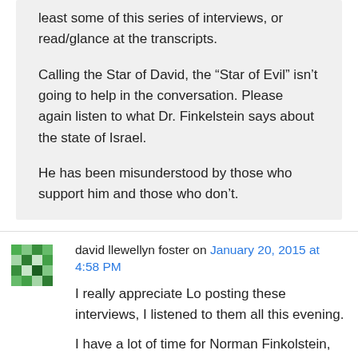least some of this series of interviews, or read/glance at the transcripts.
Calling the Star of David, the “Star of Evil” isn’t going to help in the conversation. Please again listen to what Dr. Finkelstein says about the state of Israel.
He has been misunderstood by those who support him and those who don’t.
david llewellyn foster on January 20, 2015 at 4:58 PM
I really appreciate Lo posting these interviews, I listened to them all this evening.
I have a lot of time for Norman Finkolstein, for